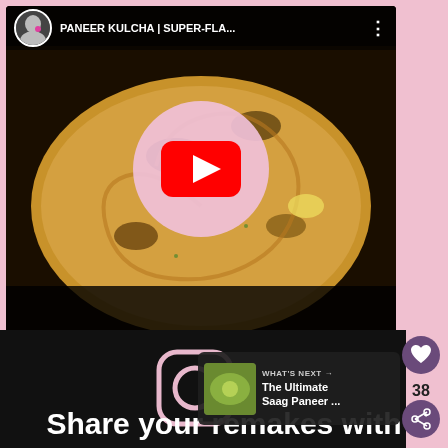[Figure (screenshot): YouTube video thumbnail showing Paneer Kulcha flatbread with play button overlay and channel avatar. Title reads 'PANEER KULCHA | SUPER-FLA...']
[Figure (logo): Instagram logo icon in pink/light color on black background]
WHAT'S NEXT → The Ultimate Saag Paneer ...
Share your remakes with